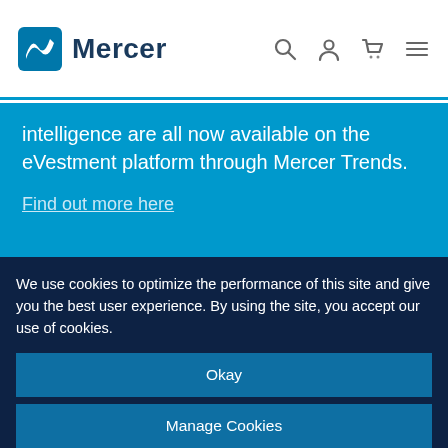Mercer
intelligence are all now available on the eVestment platform through Mercer Trends.
Find out more here
Related resources
We use cookies to optimize the performance of this site and give you the best user experience. By using the site, you accept our use of cookies.
Okay
Manage Cookies